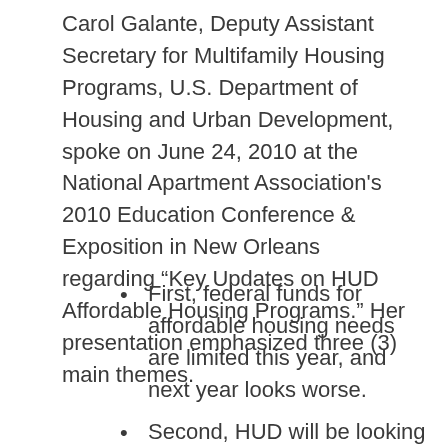Carol Galante, Deputy Assistant Secretary for Multifamily Housing Programs, U.S. Department of Housing and Urban Development, spoke on June 24, 2010 at the National Apartment Association's 2010 Education Conference & Exposition in New Orleans regarding “Key Updates on HUD Affordable Housing Programs.” Her presentation emphasized three (3) main themes.
First, federal funds for affordable housing needs are limited this year, and next year looks worse.
Second, HUD will be looking to cut expenses.